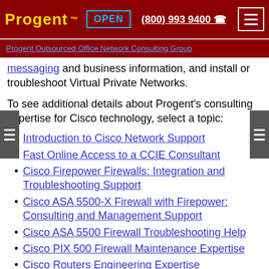Progent TM OPEN (800) 993 9400
Progent Outsourced Office Network Consulting Group
messaging and business information, and install or troubleshoot Virtual Private Networks.
To see additional details about Progent's consulting expertise for Cisco technology, select a topic:
Introduction to Cisco Network Support
Fast Online Access to a CCIE Consultant
Cisco Firepower Firewalls: Integration and Troubleshooting Support
Cisco ASA 5500-X Firewall with Firepower: Consulting and Management Support
Cisco ASA 5500 Firewall Troubleshooting Help
Cisco PIX 500 Firewall Maintenance Expertise
Cisco Routers Engineering Expertise
Cisco Wireless Engineering Help
Cisco Aironet Wireless APs Design Services